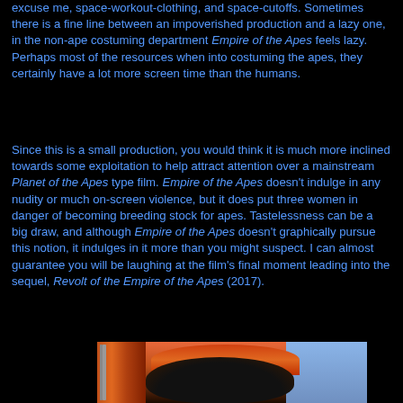excuse me, space-workout-clothing, and space-cutoffs. Sometimes there is a fine line between an impoverished production and a lazy one, in the non-ape costuming department Empire of the Apes feels lazy. Perhaps most of the resources when into costuming the apes, they certainly have a lot more screen time than the humans.
Since this is a small production, you would think it is much more inclined towards some exploitation to help attract attention over a mainstream Planet of the Apes type film. Empire of the Apes doesn't indulge in any nudity or much on-screen violence, but it does put three women in danger of becoming breeding stock for apes. Tastelessness can be a big draw, and although Empire of the Apes doesn't graphically pursue this notion, it indulges in it more than you might suspect. I can almost guarantee you will be laughing at the film's final moment leading into the sequel, Revolt of the Empire of the Apes (2017).
[Figure (photo): A partial photo showing what appears to be a character or figure with orange/red hair or fur, with structural bars/columns on the left and a blue sky background on the right. Likely a still from the film Empire of the Apes.]